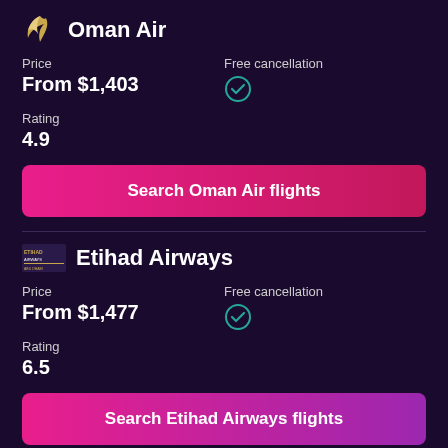Oman Air
Price
From $1,403
Free cancellation
Rating
4.9
Search Oman Air flights
Etihad Airways
Price
From $1,477
Free cancellation
Rating
6.5
Search Etihad Airways flights